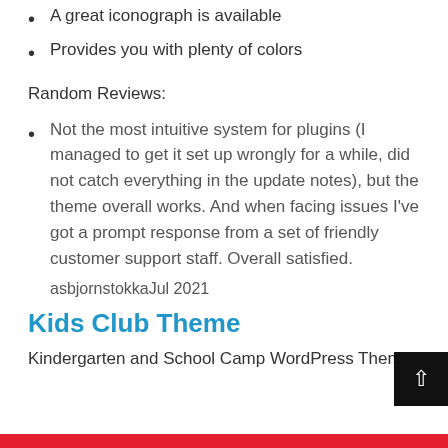A great iconograph is available
Provides you with plenty of colors
Random Reviews:
Not the most intuitive system for plugins (I managed to get it set up wrongly for a while, did not catch everything in the update notes), but the theme overall works. And when facing issues I've got a prompt response from a set of friendly customer support staff. Overall satisfied.
asbjornstokkaJul 2021
Kids Club Theme
Kindergarten and School Camp WordPress Theme